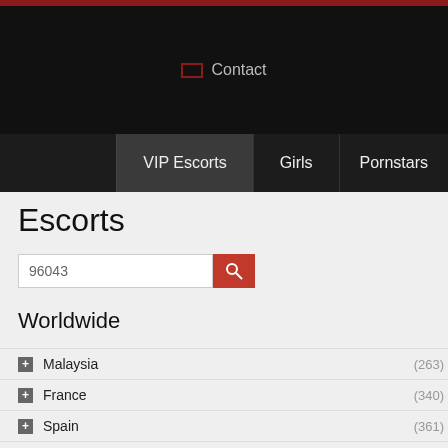Contact
VIP Escorts | Girls | Pornstars
Escorts
96043
Worldwide
Malaysia (263)
France (340)
Spain (361)
Switzerland (48)
Denmark (206)
Canada (92)
Belgium (174)
Sweden (116)
[Figure (photo): Photo of a person on a red sofa with a NEW badge overlay]